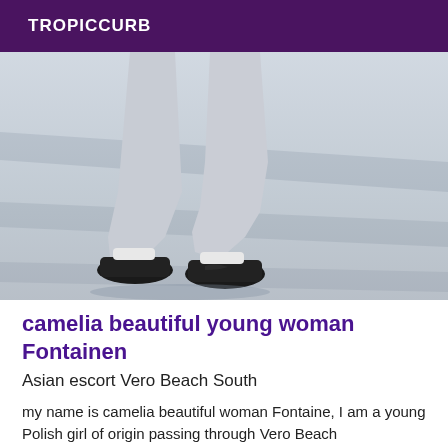TROPICCURB
[Figure (photo): Photo of a person's lower body wearing light grey leggings and black Puma sneakers, walking on a sandy/paved surface with shadows visible.]
camelia beautiful young woman Fontainen
Asian escort Vero Beach South
my name is camelia beautiful woman Fontaine, I am a young Polish girl of origin passing through Vero Beach